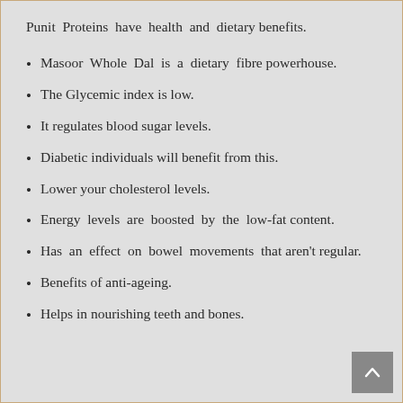Punit Proteins have health and dietary benefits.
Masoor Whole Dal is a dietary fibre powerhouse.
The Glycemic index is low.
It regulates blood sugar levels.
Diabetic individuals will benefit from this.
Lower your cholesterol levels.
Energy levels are boosted by the low-fat content.
Has an effect on bowel movements that aren't regular.
Benefits of anti-ageing.
Helps in nourishing teeth and bones.